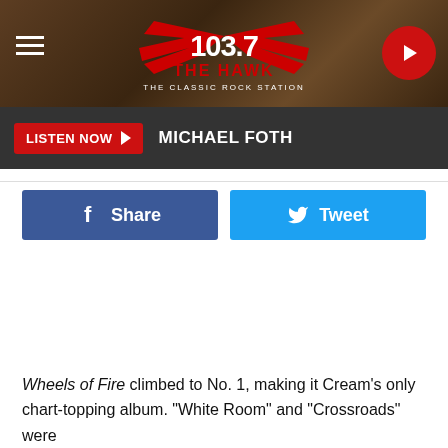103.7 THE HAWK - THE CLASSIC ROCK STATION
LISTEN NOW ▶ MICHAEL FOTH
[Figure (other): Facebook Share button and Twitter Tweet button]
Wheels of Fire climbed to No. 1, making it Cream's only chart-topping album. "White Room" and "Crossroads" were